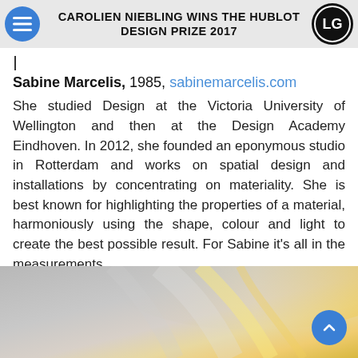CAROLIEN NIEBLING WINS THE HUBLOT DESIGN PRIZE 2017
Sabine Marcelis, 1985, sabinemarcelis.com
She studied Design at the Victoria University of Wellington and then at the Design Academy Eindhoven. In 2012, she founded an eponymous studio in Rotterdam and works on spatial design and installations by concentrating on materiality. She is best known for highlighting the properties of a material, harmoniously using the shape, colour and light to create the best possible result. For Sabine it's all in the measurements.
[Figure (photo): Abstract close-up photograph showing curved glossy surfaces in warm gold and cool grey tones, likely a product or material detail shot.]